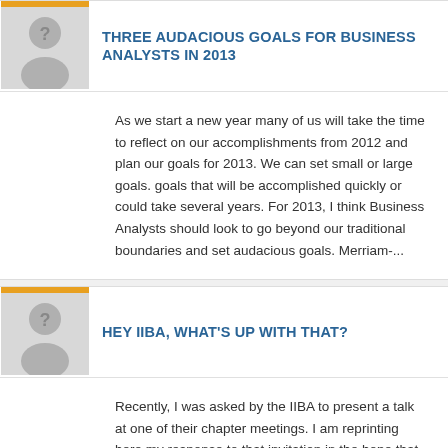THREE AUDACIOUS GOALS FOR BUSINESS ANALYSTS IN 2013
As we start a new year many of us will take the time to reflect on our accomplishments from 2012 and plan our goals for 2013. We can set small or large goals. goals that will be accomplished quickly or could take several years. For 2013, I think Business Analysts should look to go beyond our traditional boundaries and set audacious goals. Merriam-...
HEY IIBA, WHAT'S UP WITH THAT?
Recently, I was asked by the IIBA to present a talk at one of their chapter meetings. I am reprinting here my response to that invitation in the hope that it will begin a